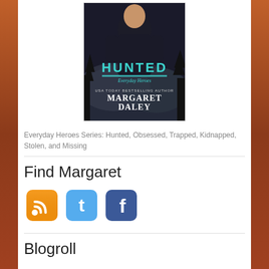[Figure (illustration): Book cover for 'Hunted' from the Everyday Heroes series by USA Today Bestselling Author Margaret Daley. Shows a man in dark clothing against a mountain/forest background with teal title text.]
Everyday Heroes Series: Hunted, Obsessed, Trapped, Kidnapped, Stolen, and Missing
Find Margaret
[Figure (logo): RSS feed icon - orange rounded square with white RSS symbol]
[Figure (logo): Twitter icon - cyan/blue rounded square with white bird/t symbol]
[Figure (logo): Facebook icon - blue rounded square with white lowercase f]
Blogroll